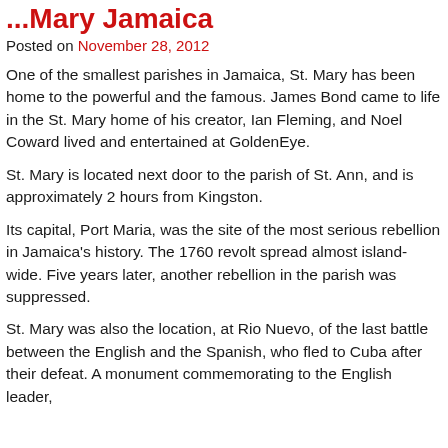...Mary Jamaica
Posted on November 28, 2012
One of the smallest parishes in Jamaica, St. Mary has been home to the powerful and the famous. James Bond came to life in the St. Mary home of his creator, Ian Fleming, and Noel Coward lived and entertained at GoldenEye.
St. Mary is located next door to the parish of St. Ann, and is approximately 2 hours from Kingston.
Its capital, Port Maria, was the site of the most serious rebellion in Jamaica's history. The 1760 revolt spread almost island-wide. Five years later, another rebellion in the parish was suppressed.
St. Mary was also the location, at Rio Nuevo, of the last battle between the English and the Spanish, who fled to Cuba after their defeat. A monument commemorating to the English leader, ...